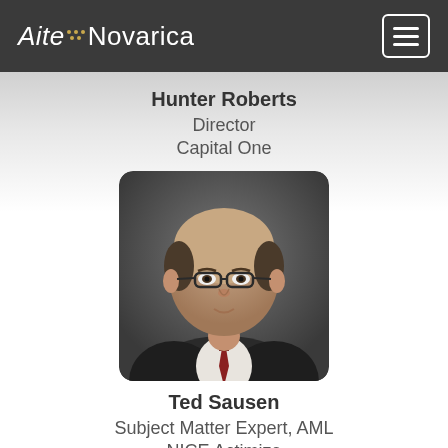Aite Novarica
Hunter Roberts
Director
Capital One
[Figure (photo): Professional headshot of Ted Sausen, a man in a dark suit with glasses and a red striped tie, photographed against a grey background]
Ted Sausen
Subject Matter Expert, AML
NICE Actimize
[Figure (photo): Partial view of another person's headshot, cropped at bottom of page]